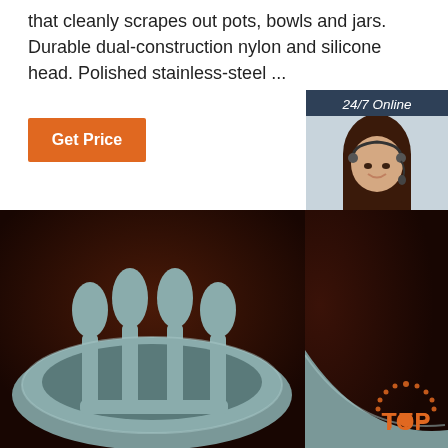that cleanly scrapes out pots, bowls and jars. Durable dual-construction nylon and silicone head. Polished stainless-steel ...
[Figure (other): Orange 'Get Price' button]
[Figure (other): 24/7 Online customer service widget with photo of woman with headset, 'Click here for free chat!' text, and orange QUOTATION button]
[Figure (photo): Product photo: silicone kitchen tool with multiple prongs/spoon heads in a bowl, dark brown background]
[Figure (logo): TOP watermark logo in bottom right with orange dotted arc]